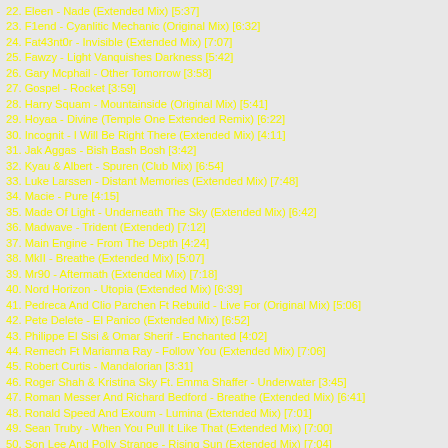22. Eleen - Nade (Extended Mix) [5:37]
23. F1end - Cyanlitic Mechanic (Original Mix) [6:32]
24. Fat43nt0r - Invisible (Extended Mix) [7:07]
25. Fawzy - Light Vanquishes Darkness [5:42]
26. Gary Mcphail - Other Tomorrow [3:58]
27. Gospel - Rocket [3:59]
28. Harry Squam - Mountainside (Original Mix) [5:41]
29. Hoyaa - Divine (Temple One Extended Remix) [6:22]
30. Incognit - I Will Be Right There (Extended Mix) [4:11]
31. Jak Aggas - Bish Bash Bosh [3:42]
32. Kyau & Albert - Spuren (Club Mix) [6:54]
33. Luke Larssen - Distant Memories (Extended Mix) [7:48]
34. Macie - Pure [4:15]
35. Made Of Light - Underneath The Sky (Extended Mix) [6:42]
36. Madwave - Trident (Extended) [7:12]
37. Main Engine - From The Depth [4:24]
38. MkII - Breathe (Extended Mix) [5:07]
39. Mr90 - Aftermath (Extended Mix) [7:18]
40. Nord Horizon - Utopia (Extended Mix) [6:39]
41. Pedreca And Clio Parchen Ft Rebuild - Live For (Original Mix) [5:06]
42. Pete Delete - El Panico (Extended Mix) [6:52]
43. Philippe El Sisi & Omar Sherif - Enchanted [4:02]
44. Remech Ft Marianna Ray - Follow You (Extended Mix) [7:06]
45. Robert Curtis - Mandalorian [3:31]
46. Roger Shah & Kristina Sky Ft. Emma Shaffer - Underwater [3:45]
47. Roman Messer And Richard Bedford - Breathe (Extended Mix) [6:41]
48. Ronald Speed And Exoum - Lumina (Extended Mix) [7:01]
49. Sean Truby - When You Pull It Like That (Extended Mix) [7:00]
50. Son Lee And Polly Strange - Rising Sun (Extended Mix) [7:04]
51. Sonnie & Tella - Sky Scar (Extended Mix) [5:01]
52. SoundM - Reverse Thrust (Original Mix) [9:48]
53. Steem Sl - Existence (Extended Mix) [7:02]
54. Tasadi And Nirma - Brighter Than Ever (Extended Mix) [5:38]
55. Tolamor - Night Rider [2:37]
56. Zeus - Magic [3:24]
57. 4 Strings And Elara - Never (Extended Mix) [7:15]
58. Angelus - Not Changin' (Extended Mix) [6:11]
59. Blue Sanza - Challenger (Extended Mix) [5:43]